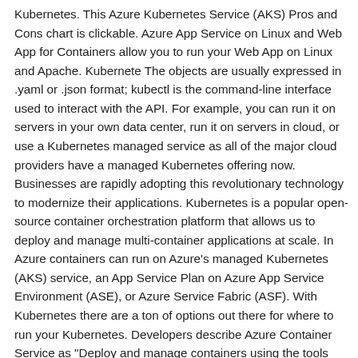Kubernetes. This Azure Kubernetes Service (AKS) Pros and Cons chart is clickable. Azure App Service on Linux and Web App for Containers allow you to run your Web App on Linux and Apache. Kubernete The objects are usually expressed in .yaml or .json format; kubectl is the command-line interface used to interact with the API. For example, you can run it on servers in your own data center, run it on servers in cloud, or use a Kubernetes managed service as all of the major cloud providers have a managed Kubernetes offering now. Businesses are rapidly adopting this revolutionary technology to modernize their applications. Kubernetes is a popular open-source container orchestration platform that allows us to deploy and manage multi-container applications at scale. In Azure containers can run on Azure's managed Kubernetes (AKS) service, an App Service Plan on Azure App Service Environment (ASE), or Azure Service Fabric (ASF). With Kubernetes there are a ton of options out there for where to run your Kubernetes. Developers describe Azure Container Service as "Deploy and manage containers using the tools you choose".Azure Container Service optimizes the configuration of popular open source tools and technologies specifically for Azure. In previous tutorials, an application was packaged into a container image, this image was uploaded to Azure Container Registry, and a Kubernetes cluster was created. I am not going to explain when to use each of those models, but FYI here are the options that Azure offers: Containers on VM; Web App for Containers; Azure Container Instances; Azure Batch; Azure Fabric;